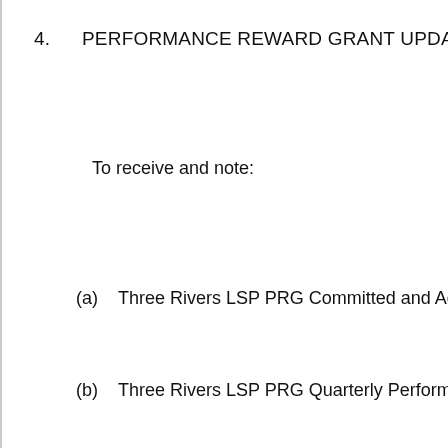4.   PERFORMANCE REWARD GRANT UPDATE (P…
To receive and note:
(a)   Three Rivers LSP PRG Committed and Actu…
(b)   Three Rivers LSP PRG Quarterly Performan…